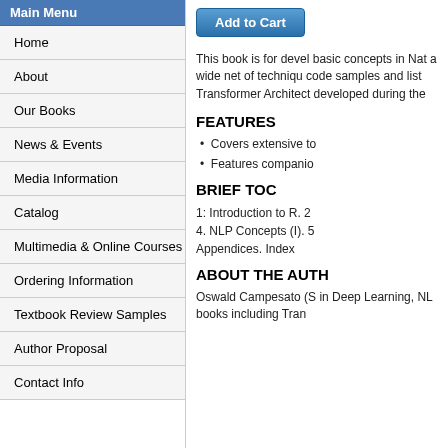Main Menu
Home
About
Our Books
News & Events
Media Information
Catalog
Multimedia & Online Courses
Ordering Information
Textbook Review Samples
Author Proposal
Contact Info
[Figure (other): Add to Cart button]
This book is for devel basic concepts in Nat a wide net of techniqu code samples and list Transformer Architect developed during the
FEATURES
Covers extensive to
Features companio
BRIEF TOC
1: Introduction to R. 2 4. NLP Concepts (I). 5 Appendices. Index
ABOUT THE AUTH
Oswald Campesato (S in Deep Learning, NL books including Tran